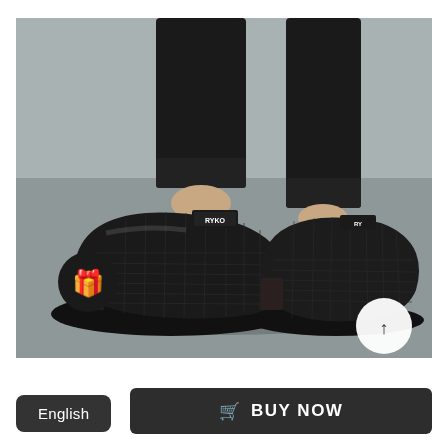[Figure (photo): Product photo of black woven leather slip-on shoes (RYKO brand) worn by a person with black trousers, photographed outdoors on pavement. A gift badge icon appears bottom-left of the image and an up-arrow circle button appears bottom-right.]
English
🛒 BUY NOW